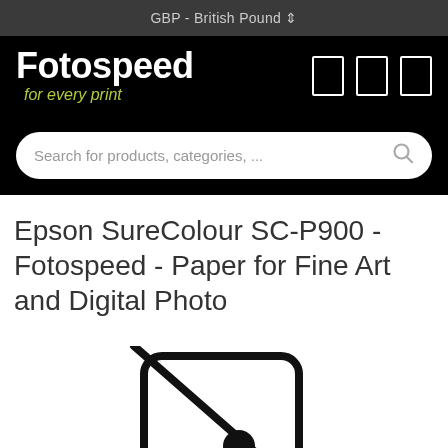GBP - British Pound ⇕
[Figure (logo): Fotospeed logo with white bold text on black background and yellow-green italic tagline 'for every print', with three white rectangle nav icons to the right]
[Figure (screenshot): Search bar with placeholder text 'Search for products, categories, ...' and magnifying glass icon on the right]
Epson SureColour SC-P900 - Fotospeed - Paper for Fine Art and Digital Photo
[Figure (illustration): A broken/missing image icon: a rounded rectangle outline with a diagonal line through it and a small circle inside, indicating an image that failed to load]